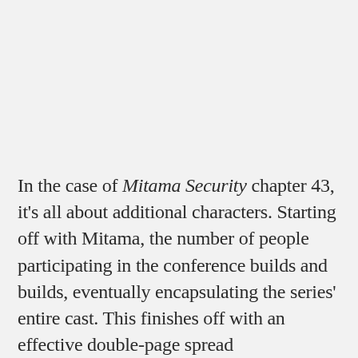In the case of Mitama Security chapter 43, it's all about additional characters. Starting off with Mitama, the number of people participating in the conference builds and builds, eventually encapsulating the series' entire cast. This finishes off with an effective double-page spread